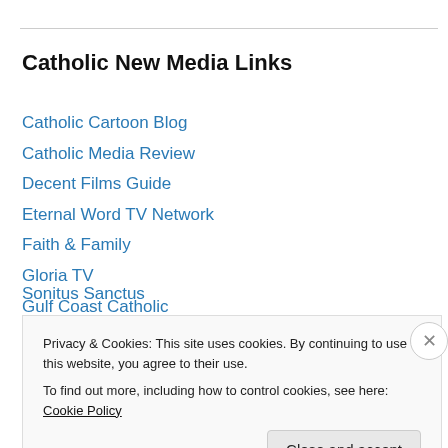Catholic New Media Links
Catholic Cartoon Blog
Catholic Media Review
Decent Films Guide
Eternal Word TV Network
Faith & Family
Gloria TV
Gulf Coast Catholic
RealCatholicTV.com
Rome Reports
Sonitus Sanctus
Privacy & Cookies: This site uses cookies. By continuing to use this website, you agree to their use.
To find out more, including how to control cookies, see here: Cookie Policy
Close and accept